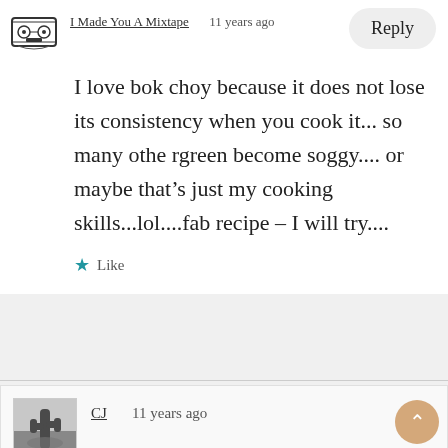[Figure (photo): Cassette tape avatar icon for user 'I Made You A Mixtape']
I Made You A Mixtape   11 years ago
Reply
I love bok choy because it does not lose its consistency when you cook it... so many othe rgreen become soggy.... or maybe that's just my cooking skills...lol....fab recipe – I will try....
★ Like
[Figure (photo): Black and white photo of a cactus silhouette against a cloudy sky, avatar for user CJ]
CJ   11 years ago